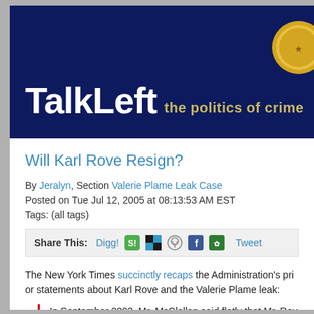TalkLeft the politics of crime
Will Karl Rove Resign?
By Jeralyn, Section Valerie Plame Leak Case
Posted on Tue Jul 12, 2005 at 08:13:53 AM EST
Tags: (all tags)
Share This: Digg! [social icons] Tweet
The New York Times succinctly recaps the Administration's prior statements about Karl Rove and the Valerie Plame leak:
In September 2003, Mr. McClellan said flatly that Mr. Rov...